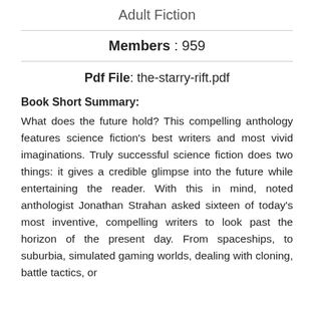Adult Fiction
Members : 959
Pdf File: the-starry-rift.pdf
Book Short Summary:
What does the future hold? This compelling anthology features science fiction's best writers and most vivid imaginations. Truly successful science fiction does two things: it gives a credible glimpse into the future while entertaining the reader. With this in mind, noted anthologist Jonathan Strahan asked sixteen of today's most inventive, compelling writers to look past the horizon of the present day. From spaceships, to suburbia, simulated gaming worlds, dealing with cloning, battle tactics, or